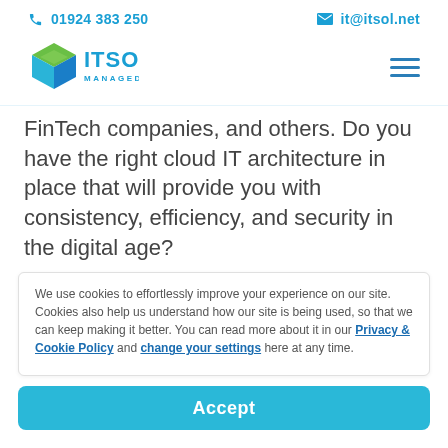01924 383 250   it@itsol.net
[Figure (logo): ITSOL Managed Services logo with geometric cube icon in green and blue, and text ITSOL MANAGED SERVICES in teal/blue]
FinTech companies, and others. Do you have the right cloud IT architecture in place that will provide you with consistency, efficiency, and security in the digital age?
We use cookies to effortlessly improve your experience on our site. Cookies also help us understand how our site is being used, so that we can keep making it better. You can read more about it in our Privacy & Cookie Policy and change your settings here at any time.
Accept